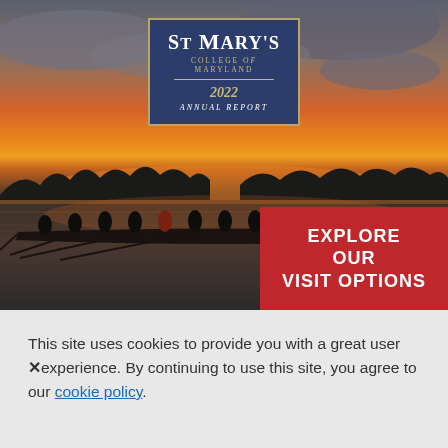[Figure (photo): Photograph of rowers in a long rowing boat on a calm river at sunset, with an orange and red sky and silhouettes of trees along the horizon. A logo box for St Mary's College of Maryland 2022 Annual Report is overlaid in the upper center, and a red banner reading 'EXPLORE OUR VISIT OPTIONS' is in the lower right.]
This site uses cookies to provide you with a great user experience. By continuing to use this site, you agree to our cookie policy.